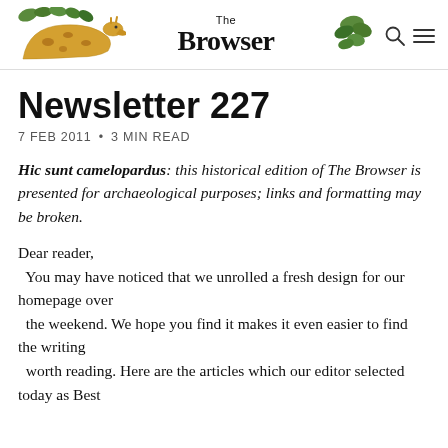The Browser
Newsletter 227
7 FEB 2011 • 3 MIN READ
Hic sunt camelopardus: this historical edition of The Browser is presented for archaeological purposes; links and formatting may be broken.
Dear reader,
  You may have noticed that we unrolled a fresh design for our homepage over the weekend. We hope you find it makes it even easier to find the writing worth reading. Here are the articles which our editor selected today as Best